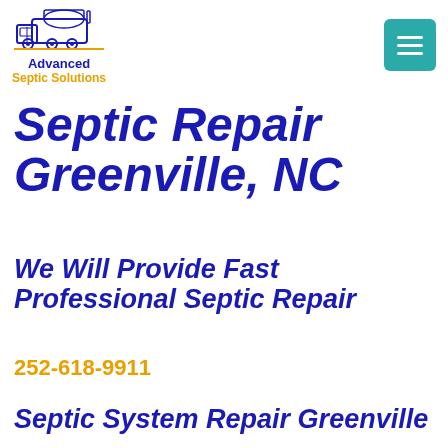[Figure (logo): Advanced Septic Solutions logo with a blue truck illustration above the company name. 'Advanced' in blue bold text, 'Septic Solutions' in orange/gold bold text.]
[Figure (other): Teal/green hamburger menu button with three white horizontal lines on a rounded square background.]
Septic Repair Greenville, NC
We Will Provide Fast Professional Septic Repair
252-618-9911
Septic System Repair Greenville